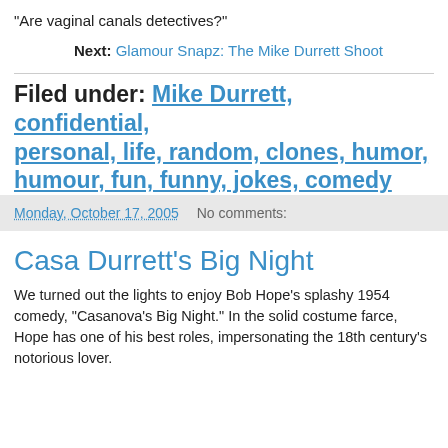"Are vaginal canals detectives?"
Next: Glamour Snapz: The Mike Durrett Shoot
Filed under: Mike Durrett, confidential, personal, life, random, clones, humor, humour, fun, funny, jokes, comedy
Monday, October 17, 2005   No comments:
Casa Durrett's Big Night
We turned out the lights to enjoy Bob Hope's splashy 1954 comedy, "Casanova's Big Night." In the solid costume farce, Hope has one of his best roles, impersonating the 18th century's notorious lover.